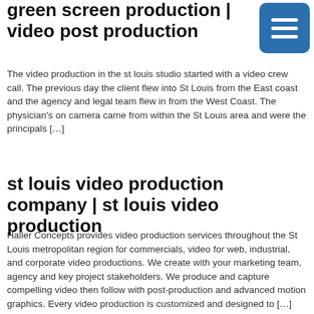green screen production | video post production
The video production in the st louis studio started with a video crew call. The previous day the client flew into St Louis from the East coast and the agency and legal team flew in from the West Coast. The physician's on camera came from within the St Louis area and were the principals […]
st louis video production company | st louis video production
Haller Concepts provides video production services throughout the St Louis metropolitan region for commercials, video for web, industrial, and corporate video productions. We create with your marketing team, agency and key project stakeholders. We produce and capture compelling video then follow with post-production and advanced motion graphics. Every video production is customized and designed to […]